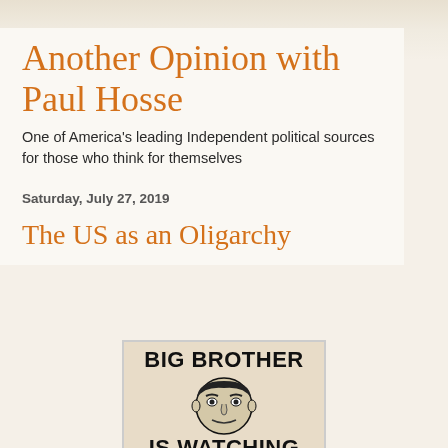Another Opinion with Paul Hosse
One of America's leading Independent political sources for those who think for themselves
Saturday, July 27, 2019
The US as an Oligarchy
[Figure (illustration): Big Brother is Watching poster — stylized face of a man with text 'BIG BROTHER' at top and 'IS WATCHING' at bottom]